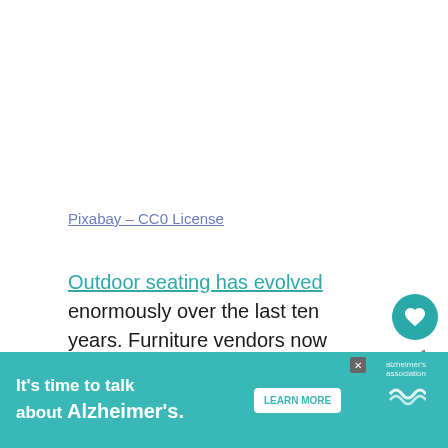Pixabay – CC0 License
Outdoor seating has evolved enormously over the last ten years. Furniture vendors now offer a range of stylish, practical options, ideally suited to outdoor use.
[Figure (other): Advertisement banner: It's time to talk about Alzheimer's. Learn More button. Alzheimer's Association logo.]